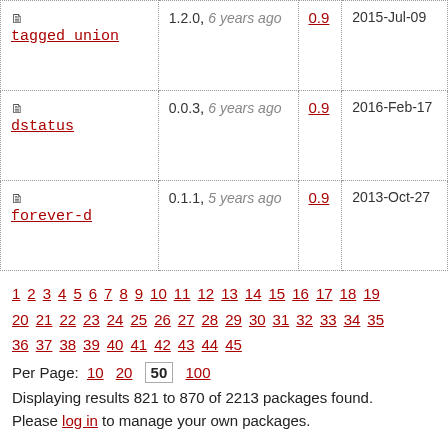| Package | Version | Score | Date |
| --- | --- | --- | --- |
| tagged_union | 1.2.0, 6 years ago | 0.9 | 2015-Jul-09 |
| dstatus | 0.0.3, 6 years ago | 0.9 | 2016-Feb-17 |
| forever-d | 0.1.1, 5 years ago | 0.9 | 2013-Oct-27 |
1 2 3 4 5 6 7 8 9 10 11 12 13 14 15 16 17 18 19 20 21 22 23 24 25 26 27 28 29 30 31 32 33 34 35 36 37 38 39 40 41 42 43 44 45
Per Page: 10 20 50 100
Displaying results 821 to 870 of 2213 packages found.
Please log in to manage your own packages.